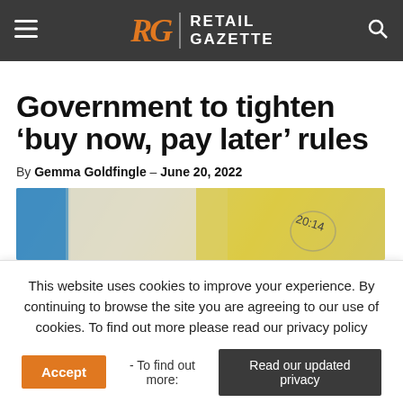Retail Gazette
Government to tighten ‘buy now, pay later’ rules
By Gemma Goldfingle - June 20, 2022
[Figure (photo): Close-up photo of a clock face showing time 20:14]
This website uses cookies to improve your experience. By continuing to browse the site you are agreeing to our use of cookies. To find out more please read our privacy policy
Accept - To find out more: Read our updated privacy